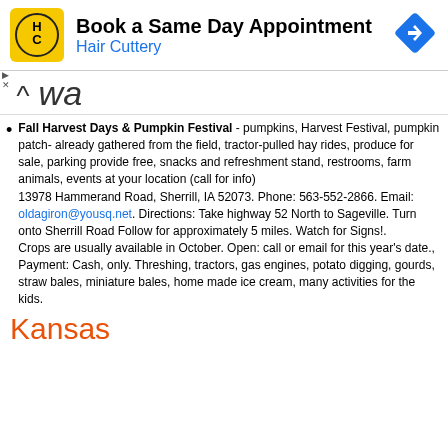[Figure (infographic): Advertisement banner for Hair Cuttery: Book a Same Day Appointment. Shows HC logo in yellow square, navigation arrow icon in blue diamond shape.]
Iowa
Fall Harvest Days & Pumpkin Festival - pumpkins, Harvest Festival, pumpkin patch- already gathered from the field, tractor-pulled hay rides, produce for sale, parking provide free, snacks and refreshment stand, restrooms, farm animals, events at your location (call for info) 13978 Hammerand Road, Sherrill, IA 52073. Phone: 563-552-2866. Email: oldagiron@yousq.net. Directions: Take highway 52 North to Sageville. Turn onto Sherrill Road Follow for approximately 5 miles. Watch for Signs!. Crops are usually available in October. Open: call or email for this year's date., Payment: Cash, only. Threshing, tractors, gas engines, potato digging, gourds, straw bales, miniature bales, home made ice cream, many activities for the kids.
Kansas